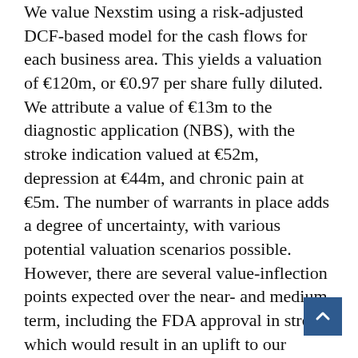We value Nexstim using a risk-adjusted DCF-based model for the cash flows for each business area. This yields a valuation of €120m, or €0.97 per share fully diluted. We attribute a value of €13m to the diagnostic application (NBS), with the stroke indication valued at €52m, depression at €44m, and chronic pain at €5m. The number of warrants in place adds a degree of uncertainty, with various potential valuation scenarios possible. However, there are several value-inflection points expected over the near- and medium-term, including the FDA approval in stroke, which would result in an uplift to our valuation as the development and execution risks subside. In line with our philosophy, we have employed conservative assumptions throughout